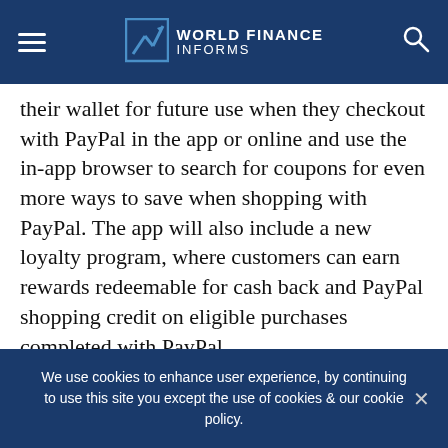World Finance Informs
their wallet for future use when they checkout with PayPal in the app or online and use the in-app browser to search for coupons for even more ways to save when shopping with PayPal. The app will also include a new loyalty program, where customers can earn rewards redeemable for cash back and PayPal shopping credit on eligible purchases completed with PayPal.
Better Ways to Manage Your Money
The new PayPal app enhances existing features, including
We use cookies to enhance user experience, by continuing to use this site you except the use of cookies & our cookie policy.